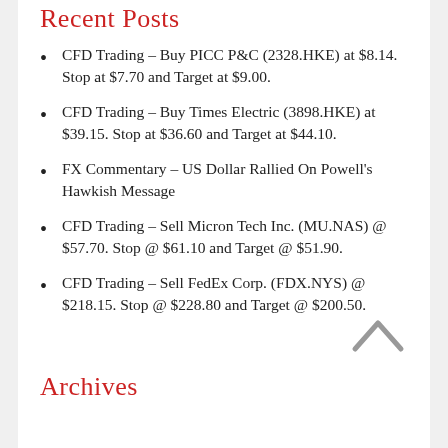Recent Posts
CFD Trading – Buy PICC P&C (2328.HKE) at $8.14. Stop at $7.70 and Target at $9.00.
CFD Trading – Buy Times Electric (3898.HKE) at $39.15. Stop at $36.60 and Target at $44.10.
FX Commentary – US Dollar Rallied On Powell's Hawkish Message
CFD Trading – Sell Micron Tech Inc. (MU.NAS) @ $57.70. Stop @ $61.10 and Target @ $51.90.
CFD Trading – Sell FedEx Corp. (FDX.NYS) @ $218.15. Stop @ $228.80 and Target @ $200.50.
Archives